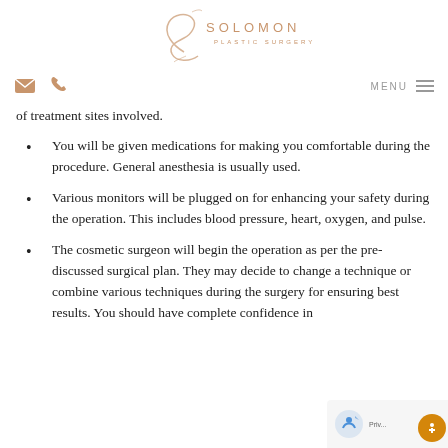SOLOMON PLASTIC SURGERY
of treatment sites involved.
You will be given medications for making you comfortable during the procedure. General anesthesia is usually used.
Various monitors will be plugged on for enhancing your safety during the operation. This includes blood pressure, heart, oxygen, and pulse.
The cosmetic surgeon will begin the operation as per the pre-discussed surgical plan. They may decide to change a technique or combine various techniques during the surgery for ensuring best results. You should have complete confidence in